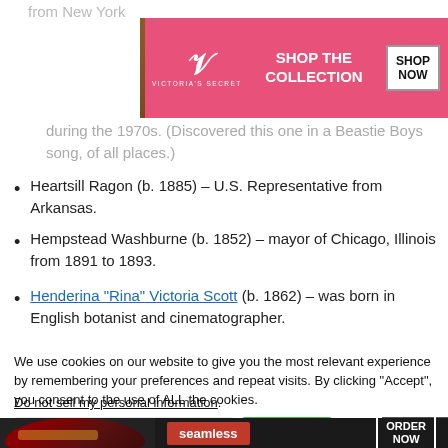[Figure (other): Victoria's Secret advertisement banner with model photo, VS logo, 'SHOP THE COLLECTION' text, and 'SHOP NOW' button]
from New York
during the 1970s. (Discovered this one in a Beastie Boys song, of all places.)
Heartsill Ragon (b. 1885) – U.S. Representative from Arkansas.
Hempstead Washburne (b. 1852) – mayor of Chicago, Illinois from 1891 to 1893.
Henderina "Rina" Victoria Scott (b. 1862) – was born in English botanist and cinematographer.
We use cookies on our website to give you the most relevant experience by remembering your preferences and repeat visits. By clicking "Accept", you consent to the use of ALL the cookies.
Do not sell my personal information.
[Figure (other): Seamless food delivery advertisement banner with pizza photo, Seamless logo, and 'ORDER NOW' button]